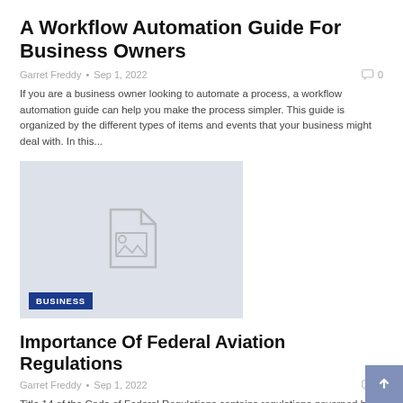A Workflow Automation Guide For Business Owners
Garret Freddy • Sep 1, 2022    0
If you are a business owner looking to automate a process, a workflow automation guide can help you make the process simpler. This guide is organized by the different types of items and events that your business might deal with. In this...
[Figure (illustration): Placeholder image with a document/image icon on a light blue-grey background, with a 'BUSINESS' badge in the lower left corner.]
Importance Of Federal Aviation Regulations
Garret Freddy • Sep 1, 2022    0
Title 14 of the Code of Federal Regulations contains regulations governed by the FAA (CFR). FARs' main goals are to guarantee safe